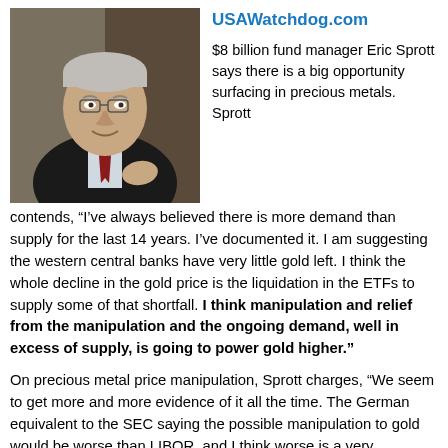[Figure (photo): Photo of Eric Sprott, an older man in a dark suit and red tie, seated and smiling]
USAWatchdog.com
$8 billion fund manager Eric Sprott says there is a big opportunity surfacing in precious metals.  Sprott contends, “I’ve always believed there is more demand than supply for the last 14 years.  I’ve documented it.  I am suggesting the western central banks have very little gold left.  I think the whole decline in the gold price is the liquidation in the ETFs to supply some of that shortfall.  I think manipulation and relief from the manipulation and the ongoing demand, well in excess of supply, is going to power gold higher.”
On precious metal price manipulation, Sprott charges, “We seem to get more and more evidence of it all the time.  The German equivalent to the SEC saying the possible manipulation to gold would be worse than LIBOR, and I think worse is a very important word here because there can’t be more money involved because LIBOR is way bigger than gold, but worse means the egregiousness of the price decline.  Furthermore, we had another group come out and say